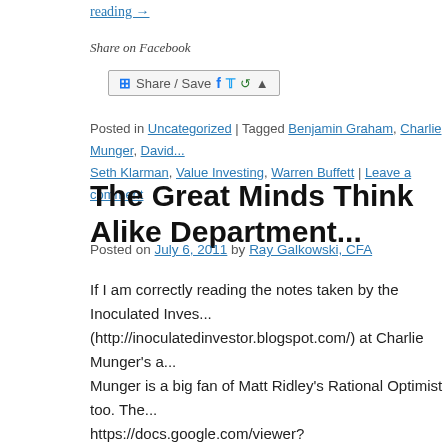reading →
Share on Facebook
[Figure (other): Share/Save social sharing button with Facebook, Twitter, and more icons]
Posted in Uncategorized | Tagged Benjamin Graham, Charlie Munger, David ... Seth Klarman, Value Investing, Warren Buffett | Leave a comment
The Great Minds Think Alike Department...
Posted on July 6, 2011 by Ray Galkowski, CFA
If I am correctly reading the notes taken by the Inoculated Inves... (http://inoculatedinvestor.blogspot.com/) at Charlie Munger's a... Munger is a big fan of Matt Ridley's Rational Optimist too. The... https://docs.google.com/viewer? a=v&pid=explorer&chrome=true&srcid=0B7X_KYnqpniZNTY... I disagree with the conclusion … Continue reading →